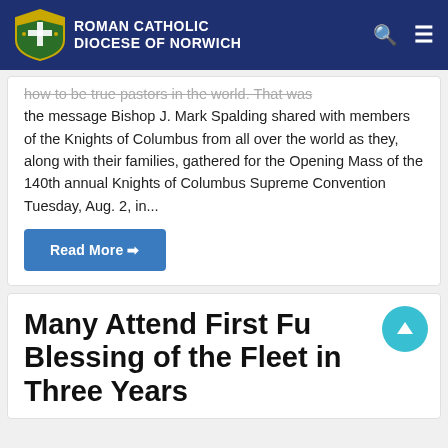Roman Catholic Diocese of Norwich
how to be true pastors in the world. That was the message Bishop J. Mark Spalding shared with members of the Knights of Columbus from all over the world as they, along with their families, gathered for the Opening Mass of the 140th annual Knights of Columbus Supreme Convention Tuesday, Aug. 2, in...
Read More
Many Attend First Full Blessing of the Fleet in Three Years